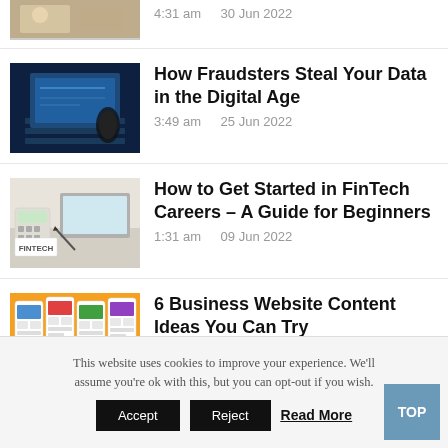[Figure (photo): Partial thumbnail of a person at a desk, top of page]
4:31 am    30 Jun 2022
[Figure (photo): Laptop with dark background and mouse]
How Fraudsters Steal Your Data in the Digital Age
3:49 am    25 Jun 2022
[Figure (photo): FinTech sign on a desk with calculator and laptop]
How to Get Started in FinTech Careers – A Guide for Beginners
1:31 am    09 Jun 2022
[Figure (photo): Colorful business website content collage on orange background]
6 Business Website Content Ideas You Can Try
5:55 pm    24 May 2022
This website uses cookies to improve your experience. We'll assume you're ok with this, but you can opt-out if you wish.